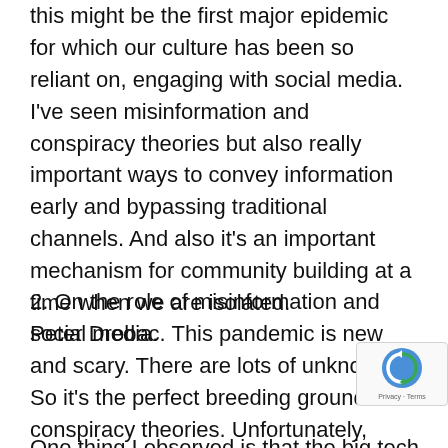this might be the first major epidemic for which our culture has been so reliant on, engaging with social media. I've seen misinformation and conspiracy theories but also really important ways to convey information early and bypassing traditional channels. And also it's an important mechanism for community building at a time when we are isolated.
2. On the role of misinformation and social media.
Peter Drobac. This pandemic is new and scary. There are lots of unknowns. So it's the perfect breeding ground for conspiracy theories. Unfortunately, those theories get clicks because they inspire fear and emotional responses.
One thing I observed is that the big tech companies